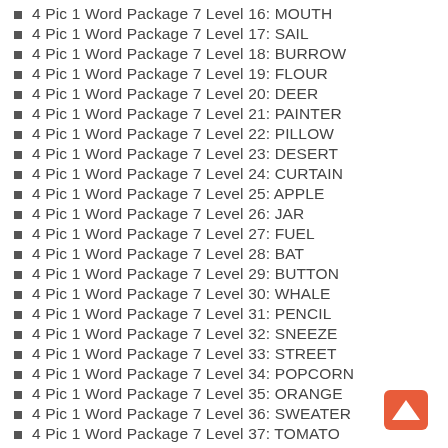4 Pic 1 Word Package 7 Level 16: MOUTH
4 Pic 1 Word Package 7 Level 17: SAIL
4 Pic 1 Word Package 7 Level 18: BURROW
4 Pic 1 Word Package 7 Level 19: FLOUR
4 Pic 1 Word Package 7 Level 20: DEER
4 Pic 1 Word Package 7 Level 21: PAINTER
4 Pic 1 Word Package 7 Level 22: PILLOW
4 Pic 1 Word Package 7 Level 23: DESERT
4 Pic 1 Word Package 7 Level 24: CURTAIN
4 Pic 1 Word Package 7 Level 25: APPLE
4 Pic 1 Word Package 7 Level 26: JAR
4 Pic 1 Word Package 7 Level 27: FUEL
4 Pic 1 Word Package 7 Level 28: BAT
4 Pic 1 Word Package 7 Level 29: BUTTON
4 Pic 1 Word Package 7 Level 30: WHALE
4 Pic 1 Word Package 7 Level 31: PENCIL
4 Pic 1 Word Package 7 Level 32: SNEEZE
4 Pic 1 Word Package 7 Level 33: STREET
4 Pic 1 Word Package 7 Level 34: POPCORN
4 Pic 1 Word Package 7 Level 35: ORANGE
4 Pic 1 Word Package 7 Level 36: SWEATER
4 Pic 1 Word Package 7 Level 37: TOMATO